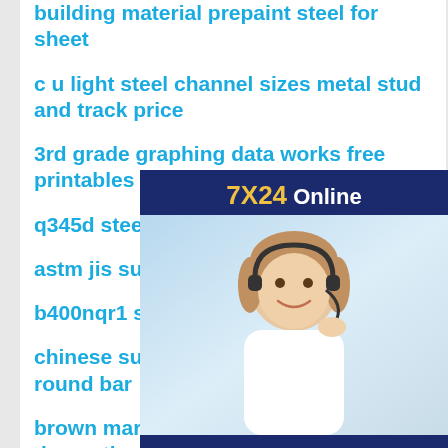building material prepaint steel for sheet
c u light steel channel sizes metal stud and track price
3rd grade graphing data works free printables
q345d steel coil prime quality i...
astm jis sus stainless steel she...
b400nqr1 steel
chinese supplier 321 410 stainless steel round bar
brown marble grain wall panel decoration film laminating met
[Figure (photo): Chat support advertisement banner with a woman wearing a headset, smiling. Dark blue background with '7X24 Online' header in yellow and white. Bottom has text 'Hello,may I help you?' and a yellow 'Get Latest Price' button.]